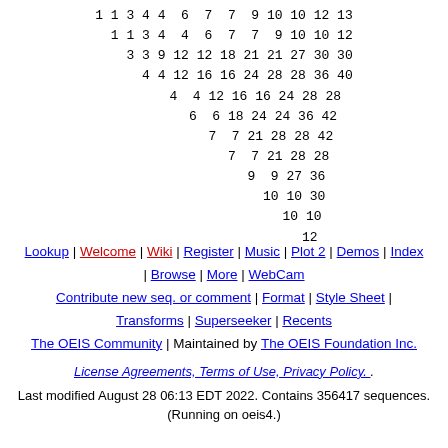1 1 3 4 4 6 7 7 9 10 10 12 13
1 1 3 4 4 6 7 7 9 10 10 12
3 3 9 12 12 18 21 21 27 30 30
4 4 12 16 16 24 28 28 36 40
4 4 12 16 16 24 28 28
6 6 18 24 24 36 42
7 7 21 28 28 42
7 7 21 28 28
9 9 27 36
10 10 30
10 10
12
Lookup | Welcome | Wiki | Register | Music | Plot 2 | Demos | Index | Browse | More | WebCam
Contribute new seq. or comment | Format | Style Sheet | Transforms | Superseeker | Recents
The OEIS Community | Maintained by The OEIS Foundation Inc.
License Agreements, Terms of Use, Privacy Policy.
Last modified August 28 06:13 EDT 2022. Contains 356417 sequences. (Running on oeis4.)